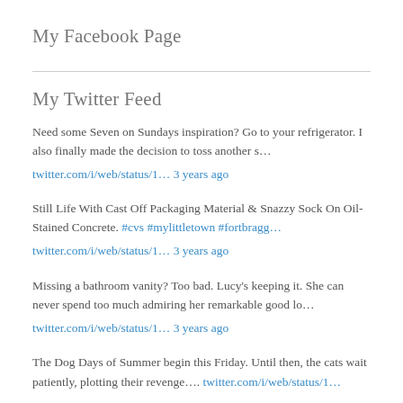My Facebook Page
My Twitter Feed
Need some Seven on Sundays inspiration? Go to your refrigerator. I also finally made the decision to toss another s…
twitter.com/i/web/status/1… 3 years ago
Still Life With Cast Off Packaging Material & Snazzy Sock On Oil-Stained Concrete. #cvs #mylittletown #fortbragg…
twitter.com/i/web/status/1… 3 years ago
Missing a bathroom vanity? Too bad. Lucy's keeping it. She can never spend too much admiring her remarkable good lo…
twitter.com/i/web/status/1… 3 years ago
The Dog Days of Summer begin this Friday. Until then, the cats wait patiently, plotting their revenge…. twitter.com/i/web/status/1…